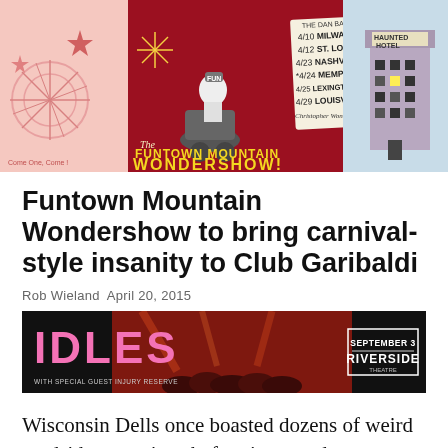[Figure (illustration): Carnival/concert promotional banner for Funtown Mountain Wondershow with dates: 4/10 Milwaukee, 4/12 St. Louis, 4/23 Nashville, 4/24 Memphis, 4/25 Lexington, 4/29 Louisville. Features cartoon character on scooter with 'FUN' hat, fireworks, haunted hotel illustration on right side.]
Funtown Mountain Wondershow to bring carnival-style insanity to Club Garibaldi
Rob Wieland  April 20, 2015
[Figure (illustration): Advertisement for IDLES concert with special guest Injury Reserve. September 3, Riverside. Pink IDLES text on dark background with concert crowd silhouette.]
Wisconsin Dells once boasted dozens of weird roadside attractions before it erected a strange mix of water parks and human Habitrails